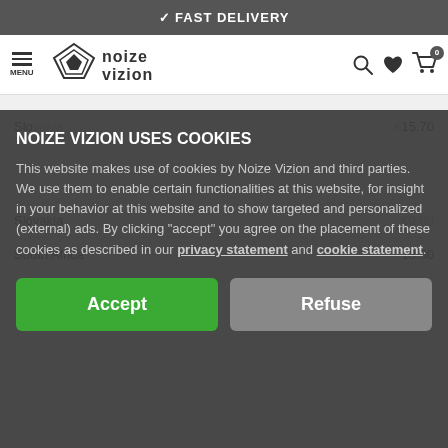✓ FAST DELIVERY
[Figure (logo): Noize Vizion logo with geometric diamond/triangle icon and stylized text, navigation bar with menu, search, wishlist, cart icons]
| Country | Price |
| --- | --- |
| Slovakia | €15.70 |
| Slovakia | €0.00 |
| South Africa | 18.50 |
NOIZE VIZION USES COOKIES
This website makes use of cookies by Noize Vizion and third parties. We use them to enable certain functionalities at this website, for insight in your behavior at this website and to show targeted and personalized (external) ads. By clicking "accept" you agree on the placement of these cookies as described in our privacy statement and cookie statement.
Accept | Refuse